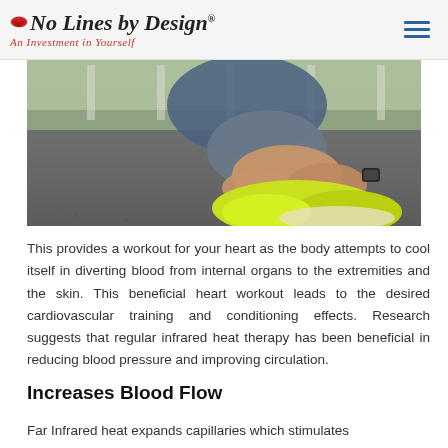No Lines by Design. An Investment in Yourself
[Figure (photo): Person kneeling on asphalt road tying bright green/yellow athletic shoe, wearing a watch, sportswear visible, outdoor setting with blurred background]
This provides a workout for your heart as the body attempts to cool itself in diverting blood from internal organs to the extremities and the skin. This beneficial heart workout leads to the desired cardiovascular training and conditioning effects. Research suggests that regular infrared heat therapy has been beneficial in reducing blood pressure and improving circulation.
Increases Blood Flow
Far Infrared heat expands capillaries which stimulates